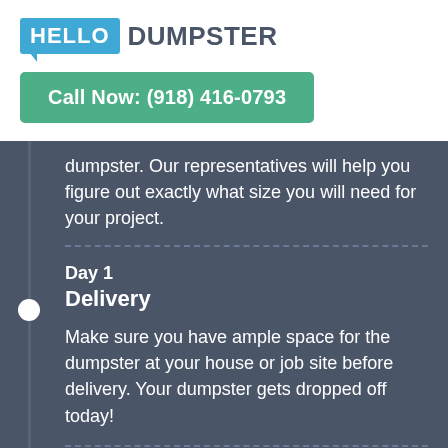[Figure (logo): Hello Dumpster logo with blue speech bubble style badge for HELLO and dark text for DUMPSTER]
Call Now: (918) 416-0793
dumpster. Our representatives will help you figure out exactly what size you will need for your project.
Day 1
Delivery
Make sure you have ample space for the dumpster at your house or job site before delivery. Your dumpster gets dropped off today!